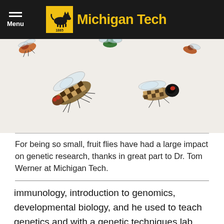Michigan Tech
[Figure (photo): Multiple fruit fly (Drosophila) specimens on white background, showing various species with different colorings and sizes]
For being so small, fruit flies have had a large impact on genetic research, thanks in great part to Dr. Tom Werner at Michigan Tech.
immunology, introduction to genomics, developmental biology, and he used to teach genetics and with a genetic techniques lab. He’s been bestowed with the state-wide Michigan Distinguished Professor of the Year Award 2021 and won Michigan